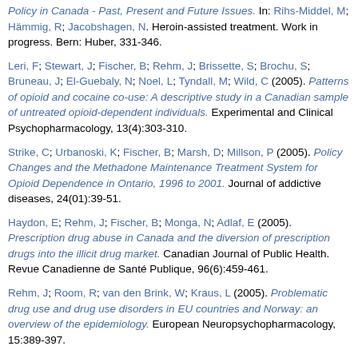Policy in Canada - Past, Present and Future Issues. In: Rihs-Middel, M; Hämmig, R; Jacobshagen, N. Heroin-assisted treatment. Work in progress. Bern: Huber, 331-346.
Leri, F; Stewart, J; Fischer, B; Rehm, J; Brissette, S; Brochu, S; Bruneau, J; El-Guebaly, N; Noel, L; Tyndall, M; Wild, C (2005). Patterns of opioid and cocaine co-use: A descriptive study in a Canadian sample of untreated opioid-dependent individuals. Experimental and Clinical Psychopharmacology, 13(4):303-310.
Strike, C; Urbanoski, K; Fischer, B; Marsh, D; Millson, P (2005). Policy Changes and the Methadone Maintenance Treatment System for Opioid Dependence in Ontario, 1996 to 2001. Journal of addictive diseases, 24(01):39-51.
Haydon, E; Rehm, J; Fischer, B; Monga, N; Adlaf, E (2005). Prescription drug abuse in Canada and the diversion of prescription drugs into the illicit drug market. Canadian Journal of Public Health. Revue Canadienne de Santé Publique, 96(6):459-461.
Rehm, J; Room, R; van den Brink, W; Kraus, L (2005). Problematic drug use and drug use disorders in EU countries and Norway: an overview of the epidemiology. European Neuropsychopharmacology, 15:389-397.